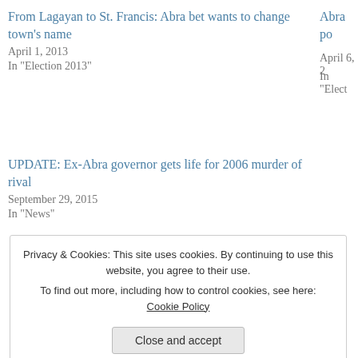From Lagayan to St. Francis: Abra bet wants to change town's name
April 1, 2013
In "Election 2013"
UPDATE: Ex-Abra governor gets life for 2006 murder of rival
September 29, 2015
In "News"
Abra po...
April 6, 2...
In "Elect..."
About SysOp
Chief Architect of abrenian.com
View all posts by SysOp »
Privacy & Cookies: This site uses cookies. By continuing to use this website, you agree to their use.
To find out more, including how to control cookies, see here: Cookie Policy
Close and accept